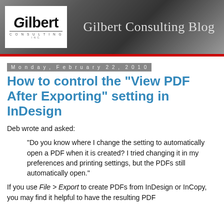[Figure (logo): Gilbert Consulting Blog header banner with logo on dark metallic gradient background. Logo shows 'Gilbert' in bold with 'CONSULTING' below. Right side reads 'Gilbert Consulting Blog' in light serif text.]
Monday, February 22, 2010
How to control the "View PDF After Exporting" setting in InDesign
Deb wrote and asked:
"Do you know where I change the setting to automatically open a PDF when it is created? I tried changing it in my preferences and printing settings, but the PDFs still automatically open."
If you use File > Export to create PDFs from InDesign or InCopy, you may find it helpful to have the resulting PDF automatically displayed when it is created. Or, it will